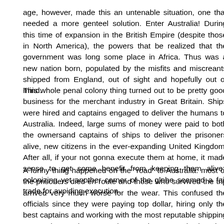age, however, made this an untenable situation, one that needed a more genteel solution. Enter Australia! During this time of expansion in the British Empire (despite those in North America), the powers that be realized that the government was long some place in Africa. Thus was a new nation born, populated by the misfits and miscreants shipped from England, out of sight and hopefully out of mind.
This whole penal colony thing turned out to be pretty good business for the merchant industry in Great Britain. Ships were hired and captains engaged to deliver the humans to Australia. Indeed, large sums of money were paid to both the ownersand captains of ships to deliver the prisoners alive, new citizens in the ever-expanding United Kingdom. After all, if your not gonna execute them at home, it made sense to get some benefit from keeping them alive; colonizing yet another corner of the globe seemed a fair trade for avoiding execution.
A funny thing happened on the “road” to Australia: most of the prisoners died en route and those who survived the trip arrived very much worse for the wear. This confused the officials since they were paying top dollar, hiring only the best captains and working with the most reputable shipping companies. Both crew and cargo, human and otherwise, seemed to make the return trip with no difficulty. Fearing that this was an issue of economics, government officials increased the fees paid to the captains, theorizing that this